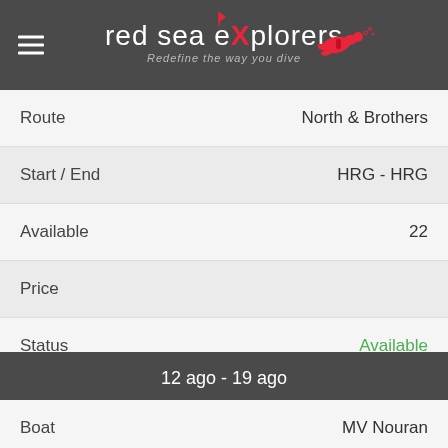red sea eXplorers — Redefine the way you dive
| Field | Value |
| --- | --- |
| Route | North & Brothers |
| Start / End | HRG - HRG |
| Available | 22 |
| Price |  |
| Status | Available |
|  | Book Now |
12 ago - 19 ago
| Field | Value |
| --- | --- |
| Boat | MV Nouran |
| Route | North |